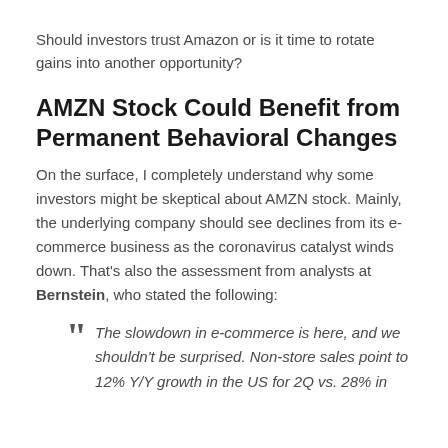Should investors trust Amazon or is it time to rotate gains into another opportunity?
AMZN Stock Could Benefit from Permanent Behavioral Changes
On the surface, I completely understand why some investors might be skeptical about AMZN stock. Mainly, the underlying company should see declines from its e-commerce business as the coronavirus catalyst winds down. That’s also the assessment from analysts at Bernstein, who stated the following:
“The slowdown in e-commerce is here, and we shouldn’t be surprised. Non-store sales point to 12% Y/Y growth in the US for 2Q vs. 28% in